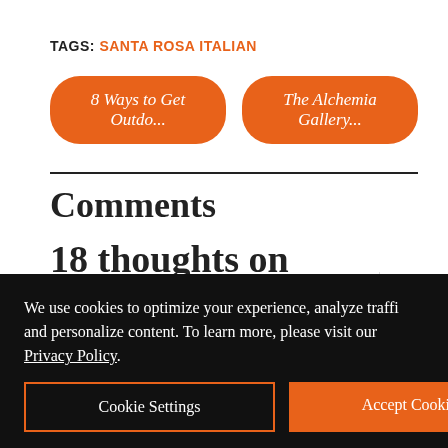TAGS: SANTA ROSA ITALIAN
8 Ways to Get Outdo...
The Alchemia Gallery...
Comments
18 thoughts on “Tomatina: Santa Rosa Casual Italian Hits the
We use cookies to optimize your experience, analyze traffic and personalize content. To learn more, please visit our Privacy Policy.
Cookie Settings
Accept Cookies